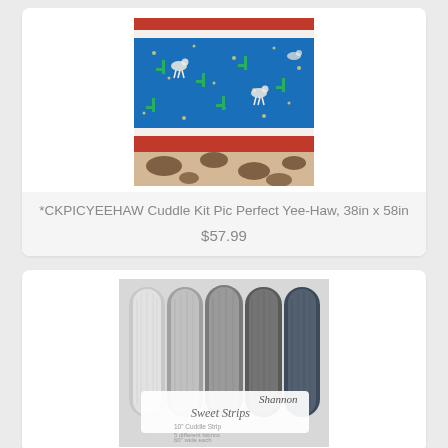[Figure (photo): Folded quilted blanket kit with western/cowboy pattern in blue, red, white, and brown cow print panels]
*CKPICYEEHAW Cuddle Kit Pic Perfect Yee-Haw, 38in x 58in
$57.99
[Figure (photo): Rolled bundles of plush faux fur fabric strips in shades of grey, branded Sweet Strips by Shannon]
Sweet Strips Shannon